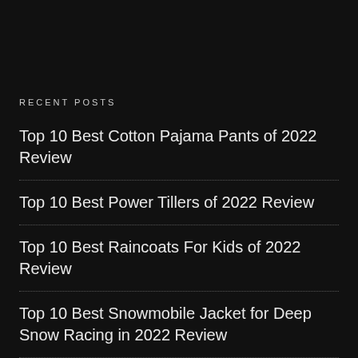RECENT POSTS
Top 10 Best Cotton Pajama Pants of 2022 Review
Top 10 Best Power Tillers of 2022 Review
Top 10 Best Raincoats For Kids of 2022 Review
Top 10 Best Snowmobile Jacket for Deep Snow Racing in 2022 Review
Top 10 Best Rechargeable Flashlight of 2022